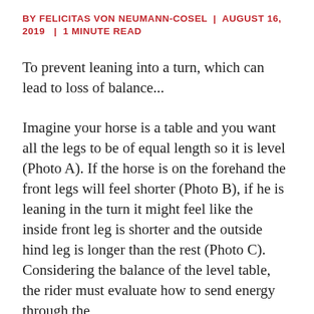BY FELICITAS VON NEUMANN-COSEL | AUGUST 16, 2019 | 1 MINUTE READ
To prevent leaning into a turn, which can lead to loss of balance...
Imagine your horse is a table and you want all the legs to be of equal length so it is level (Photo A). If the horse is on the forehand the front legs will feel shorter (Photo B), if he is leaning in the turn it might feel like the inside front leg is shorter and the outside hind leg is longer than the rest (Photo C). Considering the balance of the level table, the rider must evaluate how to send energy through the